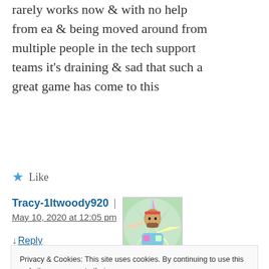rarely works now & with no help from ea & being moved around from multiple people in the tech support teams it's draining & sad that such a great game has come to this
★ Like
Tracy-1ltwoody920 | May 10, 2020 at 12:05 pm
↓ Reply
Privacy & Cookies: This site uses cookies. By continuing to use this website, you agree to their use. To find out more, including how to control cookies, see here: Cookie Policy
Close and accept